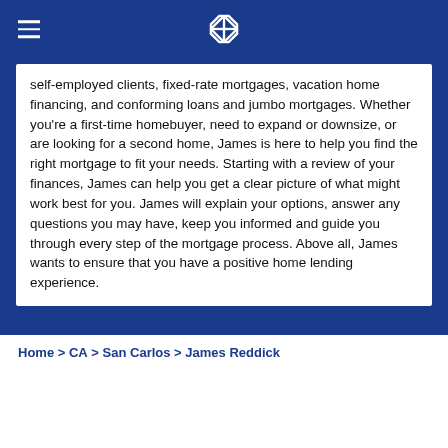Chase home lending — navigation header with logo
self-employed clients, fixed-rate mortgages, vacation home financing, and conforming loans and jumbo mortgages. Whether you're a first-time homebuyer, need to expand or downsize, or are looking for a second home, James is here to help you find the right mortgage to fit your needs. Starting with a review of your finances, James can help you get a clear picture of what might work best for you. James will explain your options, answer any questions you may have, keep you informed and guide you through every step of the mortgage process. Above all, James wants to ensure that you have a positive home lending experience.
Home > CA > San Carlos > James Reddick